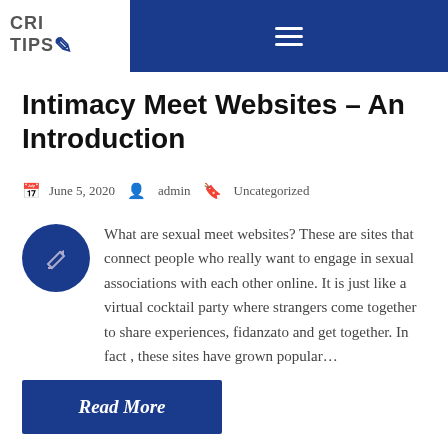CRI TIPS
Intimacy Meet Websites – An Introduction
June 5, 2020   admin   Uncategorized
What are sexual meet websites? These are sites that connect people who really want to engage in sexual associations with each other online. It is just like a virtual cocktail party where strangers come together to share experiences, fidanzato and get together. In fact , these sites have grown popular…
Read More